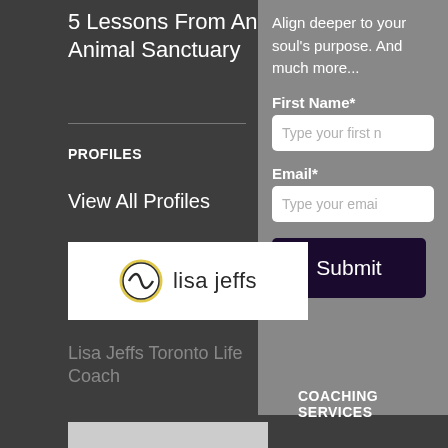5 Lessons From An Animal Sanctuary
PROFILES
View All Profiles
[Figure (logo): Lisa Jeffs logo with circular icon and text 'lisa jeffs']
Lisa Jeffs Toronto Life Coach
Align deeper to your soul's purpose. And much more...
First Name*
Type your first n
Email*
Type your emai
Submit
COACHING SERVICES